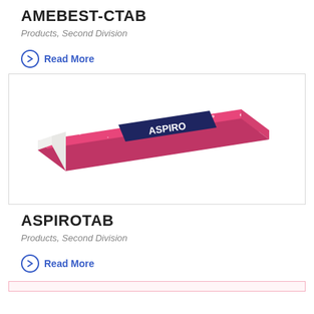AMEBEST-C TAB
Products, Second Division
Read More
[Figure (photo): Product packaging for ASPIRO tablet — a pink/hot-pink flat box with dark navy label reading ASPIRO, shown at an angle on a white background]
ASPIRO TAB
Products, Second Division
Read More